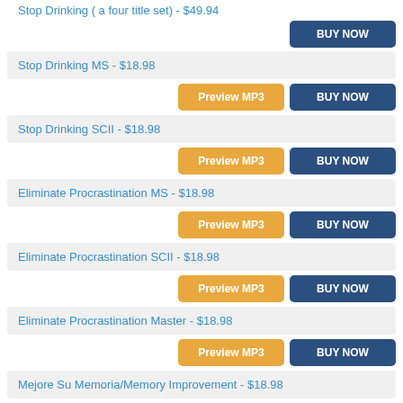Stop Drinking ( a four title set) - $49.94
Stop Drinking MS - $18.98
Stop Drinking SCII - $18.98
Eliminate Procrastination MS - $18.98
Eliminate Procrastination SCII - $18.98
Eliminate Procrastination Master - $18.98
Mejore Su Memoria/Memory Improvement - $18.98